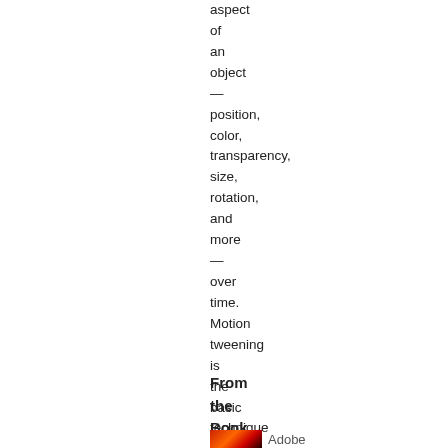aspect of an object — position, color, transparency, size, rotation, and more — over time. Motion tweening is the basic technique of creating animation with symbol instances.
From the Book
[Figure (photo): Small book cover thumbnail image showing red/orange tones, followed by the word 'Adobe']